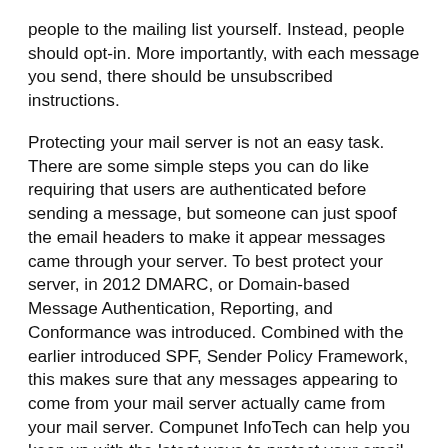people to the mailing list yourself. Instead, people should opt-in. More importantly, with each message you send, there should be unsubscribed instructions.
Protecting your mail server is not an easy task. There are some simple steps you can do like requiring that users are authenticated before sending a message, but someone can just spoof the email headers to make it appear messages came through your server. To best protect your server, in 2012 DMARC, or Domain-based Message Authentication, Reporting, and Conformance was introduced. Combined with the earlier introduced SPF, Sender Policy Framework, this makes sure that any messages appearing to come from your mail server actually came from your mail server. Compunet InfoTech can help you keep up with the latest ways to protect your email servers and thus getting your marketing messages through.